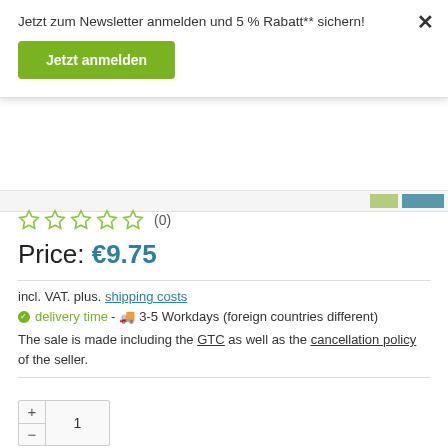Jetzt zum Newsletter anmelden und 5 % Rabatt** sichern!
Jetzt anmelden
(0)
Price: €9.75
incl. VAT. plus. shipping costs
delivery time - 3-5 Workdays (foreign countries different)
The sale is made including the GTC as well as the cancellation policy of the seller.
1